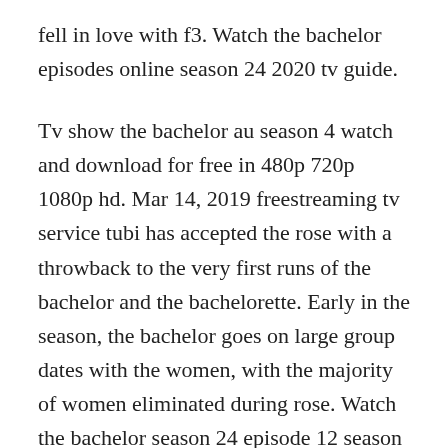fell in love with f3. Watch the bachelor episodes online season 24 2020 tv guide.
Tv show the bachelor au season 4 watch and download for free in 480p 720p 1080p hd. Mar 14, 2019 freestreaming tv service tubi has accepted the rose with a throwback to the very first runs of the bachelor and the bachelorette. Early in the season, the bachelor goes on large group dates with the women, with the majority of women eliminated during rose. Watch the bachelor season 24 episode 12 season finale. Gogglebox australia s11e7 the